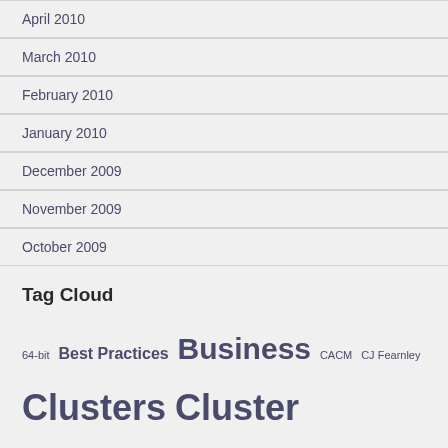April 2010
March 2010
February 2010
January 2010
December 2009
November 2009
October 2009
Tag Cloud
64-bit Best Practices Business CACM CJ Fearnley Clusters Cluster Services